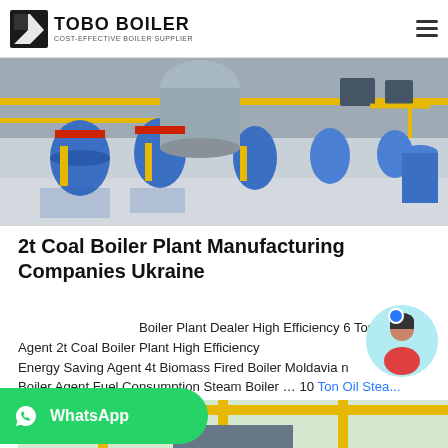TOBO BOILER COST-EFFECTIVE BOILER SUPPLIER
[Figure (photo): Industrial boiler room with multiple large blue cylindrical boilers lined up, yellow pipes, stainless steel tanks, in a bright white facility]
2t Coal Boiler Plant Manufacturing Companies Ukraine
Boiler Plant Dealer High Efficiency 6 Ton Agent 2t Coal Boiler Plant High Efficiency Energy Saving Agent 4t Biomass Fired Boiler Moldavia Boiler Agent Fuel Consumption Steam Boiler … 10 Ton Oil Stea...
[Figure (photo): Industrial boiler facility with yellow metal framework and large cylindrical boiler vessels, partial view at bottom of page]